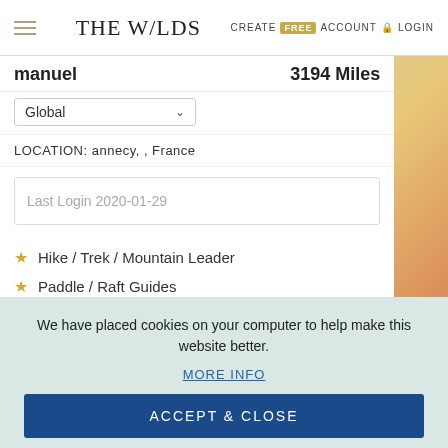THE W/LDS — CREATE FREE ACCOUNT LOGIN
manuel — 3194 Miles
Global
LOCATION: annecy, , France
Last Login 2020-01-29
Hike / Trek / Mountain Leader
Paddle / Raft Guides
Wilderness Admin & Management
Stand Up Paddle
We have placed cookies on your computer to help make this website better.
MORE INFO
ACCEPT & CLOSE